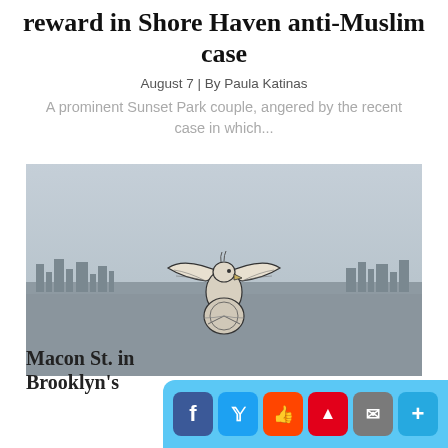reward in Shore Haven anti-Muslim case
August 7 | By Paula Katinas
A prominent Sunset Park couple, angered by the recent case in which...
[Figure (photo): Aerial cityscape of Brooklyn/New York with an eagle emblem (Brooklyn borough seal) overlaid in the center. Hazy skyline with dense urban buildings visible below.]
Macon St. in Brooklyn's